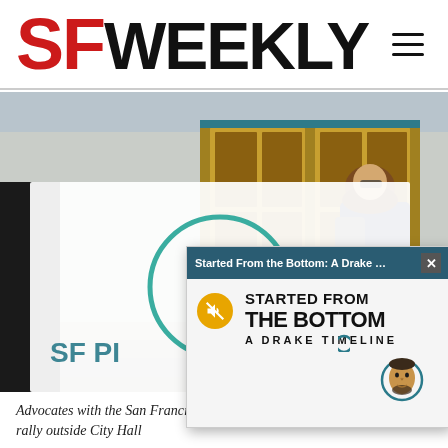SF WEEKLY
[Figure (photo): People holding a large white flag with a teal SF Public Utilities Commission logo (leaf/plant design in a circle) on the steps outside City Hall with ornate gold doors visible in background. A young person with long hair and a backpack holds the flag on the right side.]
[Figure (screenshot): Video popup overlay titled 'Started From the Bottom: A Drake ...' with a close button. Below shows graphic text reading 'STARTED FROM THE BOTTOM A DRAKE TIMELINE' with a mute button icon (speaker with X) in orange circle, and an illustrated face of Drake at the bottom.]
Advocates with the Sa[n Francisco Public Utilities Commission] hold a rally outside C[ity Hall]